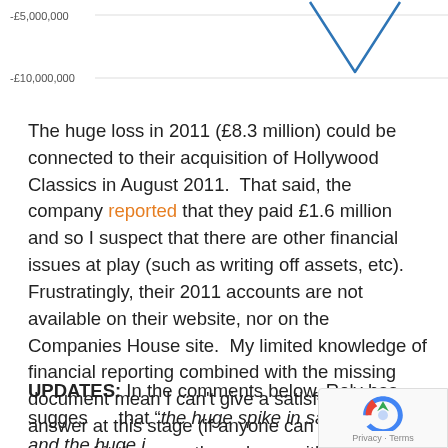[Figure (continuous-plot): Bottom portion of a line chart showing financial data with y-axis labels at -£5,000,000 and -£10,000,000. A blue V-shaped downward spike is visible at the top right of the visible chart area.]
The huge loss in 2011 (£8.3 million) could be connected to their acquisition of Hollywood Classics in August 2011.  That said, the company reported that they paid £1.6 million and so I suspect that there are other financial issues at play (such as writing off assets, etc). Frustratingly, their 2011 accounts are not available on their website, nor on the Companies House site.  My limited knowledge of financial reporting combined with the missing document mean I can't give a satisfactory answer at this stage (if anyone can make more sense of it than me, then please either email me or leave a comment below).
UPDATES: In the comments below, Roly has suggested that "the huge spike in sales in 2010 and the huge increase in losses in 2011 were due to the acquisition of Target"